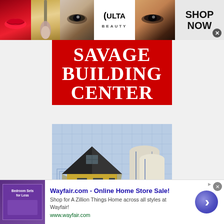[Figure (infographic): Ulta Beauty banner advertisement at top with makeup/beauty photos, Ulta logo, and 'SHOP NOW' button]
SAVAGE BUILDING CENTER
[Figure (photo): House model on architectural blueprints with rolled blueprint plans]
409 N. SPRING ST. SPARTA, TN 38583
931-836-2219
[Figure (infographic): Wayfair.com online home store advertisement with bedroom sets thumbnail, title, description and arrow button]
Wayfair.com - Online Home Store Sale!
Shop for A Zillion Things Home across all styles at Wayfair!
www.wayfair.com